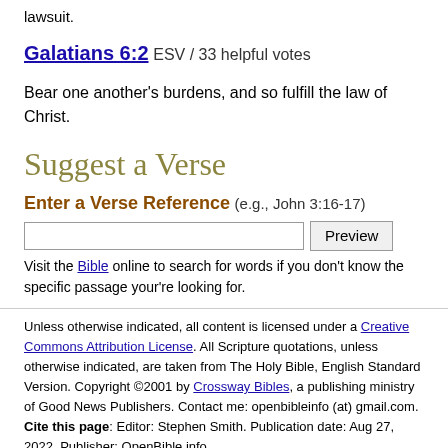lawsuit.
Galatians 6:2 ESV / 33 helpful votes
Bear one another's burdens, and so fulfill the law of Christ.
Suggest a Verse
Enter a Verse Reference (e.g., John 3:16-17)
Visit the Bible online to search for words if you don't know the specific passage your're looking for.
Unless otherwise indicated, all content is licensed under a Creative Commons Attribution License. All Scripture quotations, unless otherwise indicated, are taken from The Holy Bible, English Standard Version. Copyright ©2001 by Crossway Bibles, a publishing ministry of Good News Publishers. Contact me: openbibleinfo (at) gmail.com. Cite this page: Editor: Stephen Smith. Publication date: Aug 27, 2022. Publisher: OpenBible.info.